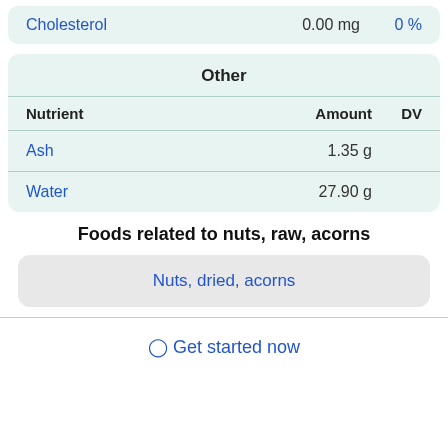| Nutrient | Amount | DV |
| --- | --- | --- |
| Cholesterol | 0.00 mg | 0 % |
| Nutrient | Amount | DV |
| --- | --- | --- |
| Ash | 1.35 g |  |
| Water | 27.90 g |  |
Foods related to nuts, raw, acorns
Nuts, dried, acorns
⊙ Get started now